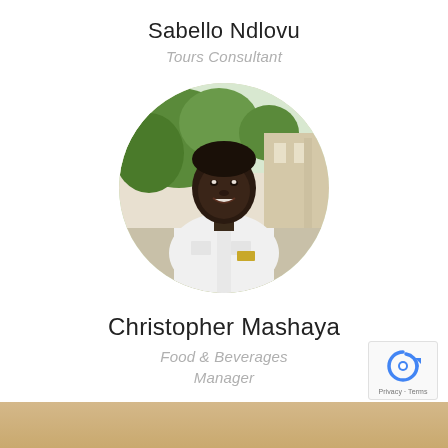Sabello Ndlovu
Tours Consultant
[Figure (photo): Circular portrait photo of Christopher Mashaya, a man wearing a white uniform shirt with a name badge, smiling, with green trees and a building in the background.]
Christopher Mashaya
Food & Beverages Manager
[Figure (logo): reCAPTCHA badge with blue recycling arrow icon and 'Privacy - Terms' text]
[Figure (other): Golden/tan colored bottom strip banner]